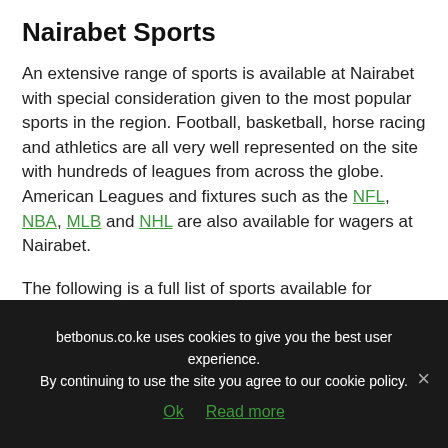Nairabet Sports
An extensive range of sports is available at Nairabet with special consideration given to the most popular sports in the region. Football, basketball, horse racing and athletics are all very well represented on the site with hundreds of leagues from across the globe. American Leagues and fixtures such as the NFL, NBA, MLB and NHL are also available for wagers at Nairabet.
The following is a full list of sports available for betting at Nairabet:
Football
Basketball
betbonus.co.ke uses cookies to give you the best user experience. By continuing to use the site you agree to our cookie policy.
Ok  Read more